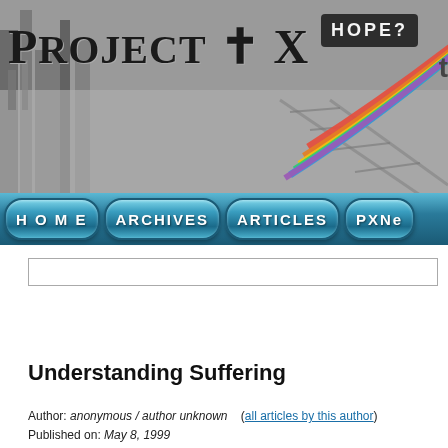[Figure (screenshot): Project X website header banner with industrial grayscale background, rainbow 'HOPE?' graphic in upper right, and 'Project X' text in decorative serif font on left]
[Figure (infographic): Navigation bar with four teal pill-shaped buttons: HOME, ARCHIVES, ARTICLES, PXNe]
Understanding Suffering
Author: anonymous / author unknown   (all articles by this author)
Published on: May 8, 1999